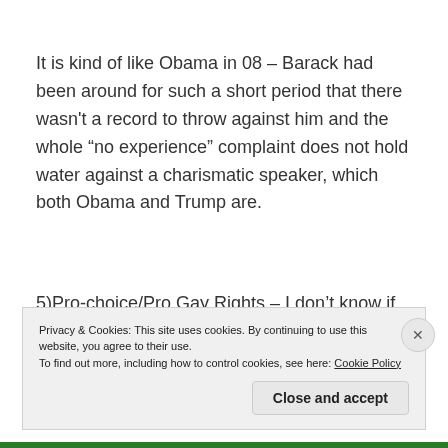It is kind of like Obama in 08 – Barack had been around for such a short period that there wasn't a record to throw against him and the whole “no experience” complaint does not hold water against a charismatic speaker, which both Obama and Trump are.
5)Pro-choice/Pro Gay Rights – I don't know if Donald has said anything about these issues during this
Privacy & Cookies: This site uses cookies. By continuing to use this website, you agree to their use.
To find out more, including how to control cookies, see here: Cookie Policy
Close and accept